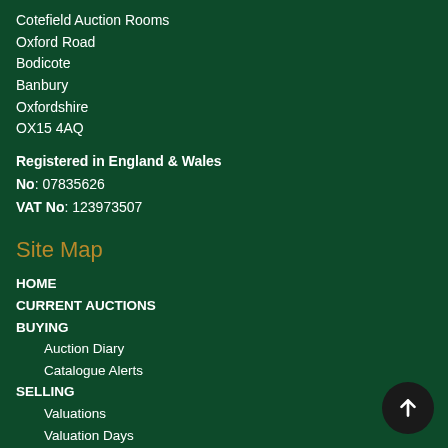Cotefield Auction Rooms
Oxford Road
Bodicote
Banbury
Oxfordshire
OX15 4AQ
Registered in England & Wales
No: 07835626
VAT No: 123973507
Site Map
HOME
CURRENT AUCTIONS
BUYING
Auction Diary
Catalogue Alerts
SELLING
Valuations
Valuation Days
Professional Services